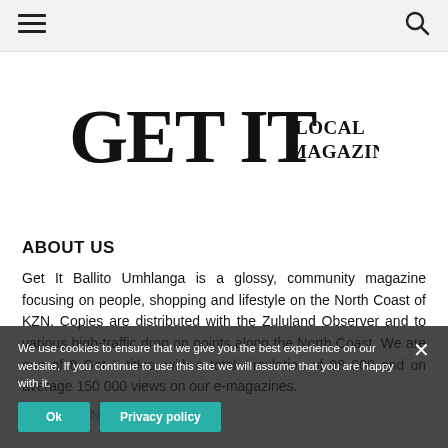Navigation bar with hamburger menu and search icon
[Figure (logo): GET IT LOCAL MAGAZINES logo in bold black serif font]
ABOUT US
Get It Ballito Umhlanga is a glossy, community magazine focusing on people, shopping and lifestyle on the North Coast of KZN. Copies are distributed with the Zululand Observer and to various high-traffic drop on points along the North Coast. We are one of 8 Get It titles, with a total circulation of 98 000 and on average 150 000 views on our e-magazines.
Visit Get It National >
We use cookies to ensure that we give you the best experience on our website. If you continue to use this site we will assume that you are happy with it.